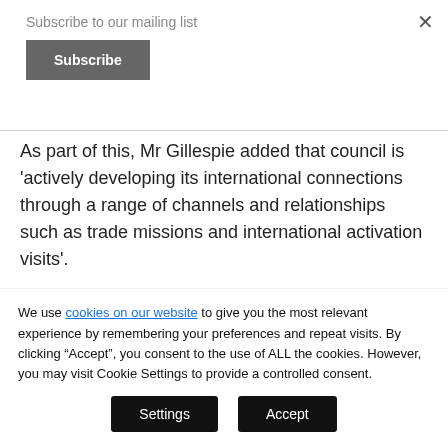Subscribe to our mailing list
Subscribe
As part of this, Mr Gillespie added that council is 'actively developing its international connections through a range of channels and relationships such as trade missions and international activation visits'.
We use cookies on our website to give you the most relevant experience by remembering your preferences and repeat visits. By clicking “Accept”, you consent to the use of ALL the cookies. However, you may visit Cookie Settings to provide a controlled consent.
Settings
Accept